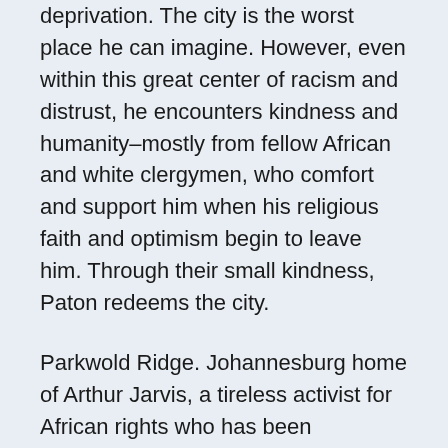deprivation. The city is the worst place he can imagine. However, even within this great center of racism and distrust, he encounters kindness and humanity–mostly from fellow African and white clergymen, who comfort and support him when his religious faith and optimism begin to leave him. Through their small kindness, Paton redeems the city.
Parkwold Ridge. Johannesburg home of Arthur Jarvis, a tireless activist for African rights who has been murdered by Kumalo's son, Absalom, during a burglary attempt on the house. After Jarvis's death, his father, James Jarvis, for the first time begins to understand his son's dedication to African rights through his exploration of his son's study, which is filled